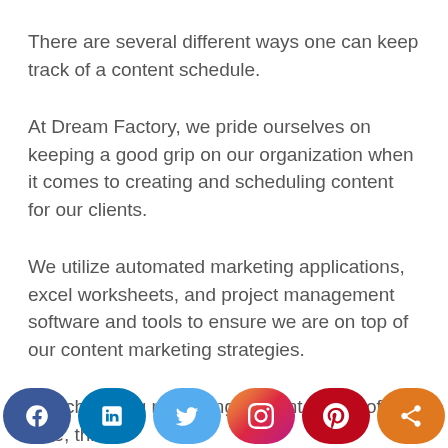There are several different ways one can keep track of a content schedule.
At Dream Factory, we pride ourselves on keeping a good grip on our organization when it comes to creating and scheduling content for our clients.
We utilize automated marketing applications, excel worksheets, and project management software and tools to ensure we are on top of our content marketing strategies.
By scheduling marketing content ahead of time, this
[Figure (infographic): Social media share buttons bar at bottom: Facebook (dark blue), LinkedIn (blue), Twitter (light blue), Instagram (gradient pink/orange), Pinterest (red), Share (orange)]